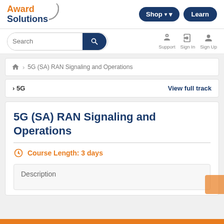Award Solutions — Shop | Learn
Search | Support | Sign In | Sign Up
5G (SA) RAN Signaling and Operations
› 5G    View full track
5G (SA) RAN Signaling and Operations
Course Length: 3 days
Description